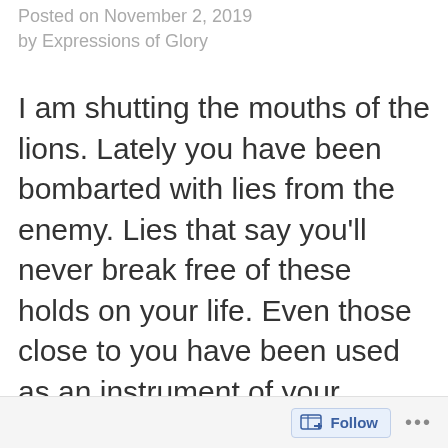Posted on November 2, 2019 by Expressions of Glory
I am shutting the mouths of the lions. Lately you have been bombarted with lies from the enemy. Lies that say you'll never break free of these holds on your life. Even those close to you have been used as an instrument of your adversary to further validate those lies
Follow ...